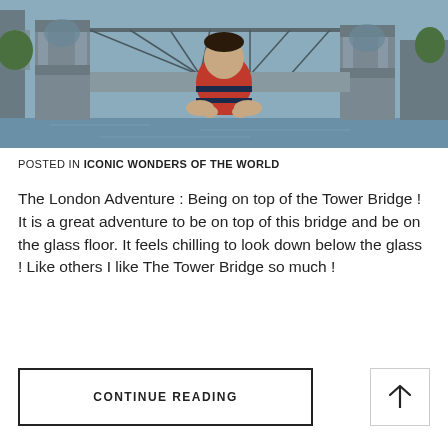[Figure (photo): A man in a red and navy striped polo shirt standing with arms crossed in front of Tower Bridge in London, with the River Thames visible in the background.]
POSTED IN ICONIC WONDERS OF THE WORLD
The London Adventure : Being on top of the Tower Bridge ! It is a great adventure to be on top of this bridge and be on the glass floor. It feels chilling to look down below the glass ! Like others I like The Tower Bridge so much !
CONTINUE READING